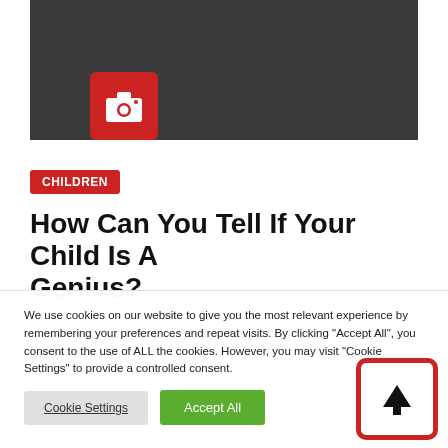[Figure (screenshot): Dark grey hero image area with a red camera icon in the lower left]
CHILDREN
How Can You Tell If Your Child Is A Genius?
We use cookies on our website to give you the most relevant experience by remembering your preferences and repeat visits. By clicking "Accept All", you consent to the use of ALL the cookies. However, you may visit "Cookie Settings" to provide a controlled consent.
Cookie Settings
Accept All